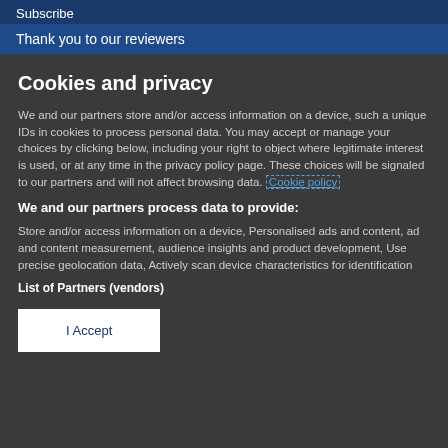Subscribe
Thank you to our reviewers
Cookies and privacy
We and our partners store and/or access information on a device, such a unique IDs in cookies to process personal data. You may accept or manage your choices by clicking below, including your right to object where legitimate interest is used, or at any time in the privacy policy page. These choices will be signaled to our partners and will not affect browsing data. Cookie policy
We and our partners process data to provide:
Store and/or access information on a device, Personalised ads and content, ad and content measurement, audience insights and product development, Use precise geolocation data, Actively scan device characteristics for identification
List of Partners (vendors)
I Accept